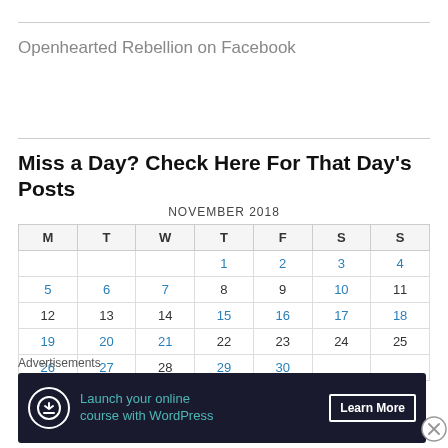Openhearted Rebellion on Facebook
Miss a Day? Check Here For That Day's Posts
| M | T | W | T | F | S | S |
| --- | --- | --- | --- | --- | --- | --- |
|  |  |  | 1 | 2 | 3 | 4 |
| 5 | 6 | 7 | 8 | 9 | 10 | 11 |
| 12 | 13 | 14 | 15 | 16 | 17 | 18 |
| 19 | 20 | 21 | 22 | 23 | 24 | 25 |
| 26 | 27 | 28 | 29 | 30 |  |  |
Advertisements
[Figure (other): Advertisement banner: Launch your online course with WordPress. Learn More button.]